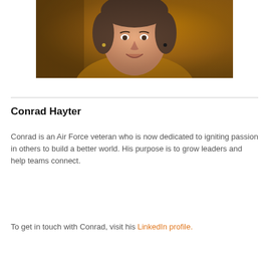[Figure (photo): Professional headshot of a woman smiling, wearing a golden/mustard yellow blazer, with a warm orange-brown blurred background]
Conrad Hayter
Conrad is an Air Force veteran who is now dedicated to igniting passion in others to build a better world. His purpose is to grow leaders and help teams connect.
To get in touch with Conrad, visit his LinkedIn profile.